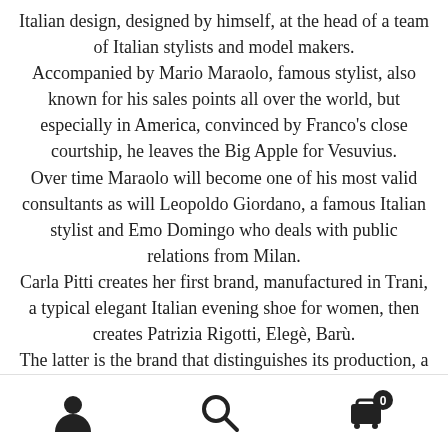Italian design, designed by himself, at the head of a team of Italian stylists and model makers. Accompanied by Mario Maraolo, famous stylist, also known for his sales points all over the world, but especially in America, convinced by Franco's close courtship, he leaves the Big Apple for Vesuvius. Over time Maraolo will become one of his most valid consultants as will Leopoldo Giordano, a famous Italian stylist and Emo Domingo who deals with public relations from Milan. Carla Pitti creates her first brand, manufactured in Trani, a typical elegant Italian evening shoe for women, then creates Patrizia Rigotti, Elegè, Barù. The latter is the brand that distinguishes its production, a medium-high level footwear marked by the fem...
User icon | Search icon | Cart icon (0)